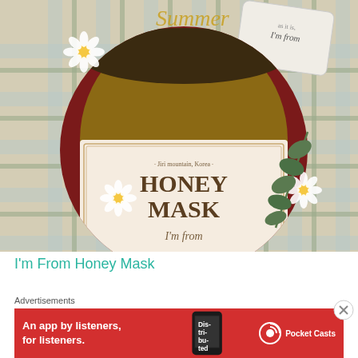[Figure (photo): Product photo of I'm From Honey Mask jar shown in a circular crop on a plaid/checkered background with daisy flowers and eucalyptus leaves. A tag with 'I'm from' text is visible in the upper right. The jar label reads '· Jiri mountain, Korea · HONEY MASK I'm from'. Yellow cursive text 'Summer' is visible at top.]
I'm From Honey Mask
Advertisements
[Figure (screenshot): Red advertisement banner for Pocket Casts app. Text reads 'An app by listeners, for listeners.' with a phone showing 'Distributed' text and Pocket Casts logo on the right.]